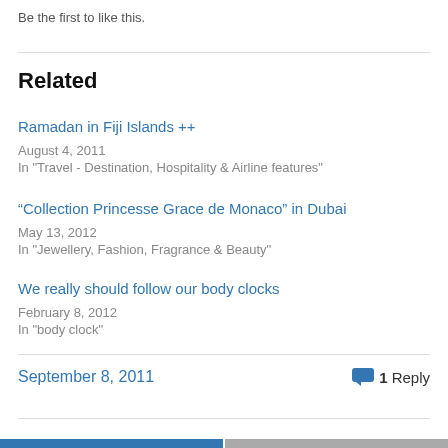Be the first to like this.
Related
Ramadan in Fiji Islands ++
August 4, 2011
In "Travel - Destination, Hospitality & Airline features"
“Collection Princesse Grace de Monaco” in Dubai
May 13, 2012
In "Jewellery, Fashion, Fragrance & Beauty"
We really should follow our body clocks
February 8, 2012
In "body clock"
September 8, 2011
1 Reply